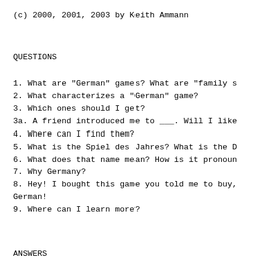(c) 2000, 2001, 2003 by Keith Ammann
QUESTIONS
1. What are "German" games?  What are "family s
2. What characterizes a "German" game?
3. Which ones should I get?
3a. A friend introduced me to ___.  Will I like
4. Where can I find them?
5. What is the Spiel des Jahres?  What is the D
6. What does that name mean?  How is it pronoun
7. Why Germany?
8. Hey!  I bought this game you told me to buy, German!
9. Where can I learn more?
ANSWERS